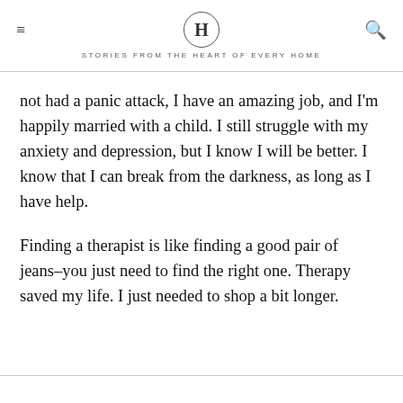H — STORIES FROM THE HEART OF EVERY HOME
not had a panic attack, I have an amazing job, and I'm happily married with a child. I still struggle with my anxiety and depression, but I know I will be better. I know that I can break from the darkness, as long as I have help.
Finding a therapist is like finding a good pair of jeans–you just need to find the right one. Therapy saved my life. I just needed to shop a bit longer.